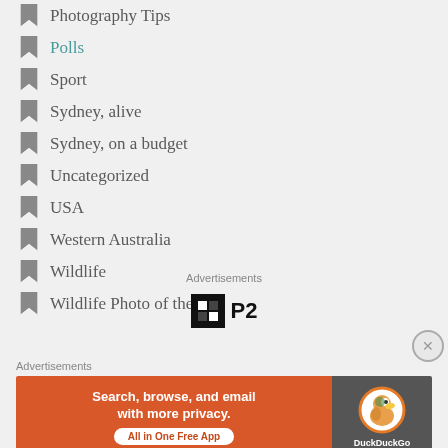Photography Tips
Polls
Sport
Sydney, alive
Sydney, on a budget
Uncategorized
USA
Western Australia
Wildlife
Wildlife Photo of the day
Advertisements
[Figure (logo): P2 logo with black square containing grid cells and bold P2 text]
Advertisements
[Figure (screenshot): DuckDuckGo advertisement banner: Search, browse, and email with more privacy. All in One Free App. DuckDuckGo logo on right.]